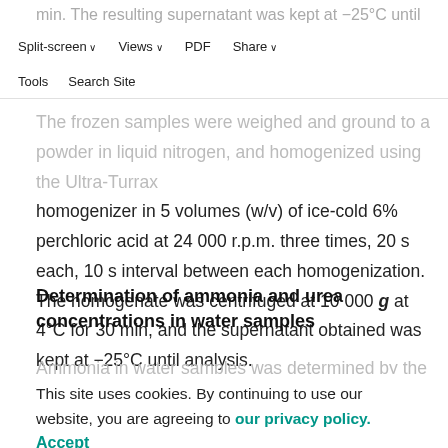min. The resulting supernatant was kept at −25°C until analysis...
Split-screen | Views | PDF | Share
Tools | Search Site
The frozen samples were weighed and ground to a powder in liquid nitrogen, and homogenized using the Ultra-Turrax homogenizer in 5 volumes (w/v) of ice-cold 6% perchloric acid at 24 000 r.p.m. three times, 20 s each, 10 s interval between each homogenization. The homogenate was centrifuged at 10 000 g at 4°C for 30 min, and the supernatant obtained was kept at −25°C until analysis.
Determination of ammonia and urea concentrations in water samples
Ammonia in water samples was determined by the method
This site uses cookies. By continuing to use our website, you are agreeing to our privacy policy. Accept
ammonia or urea excreted were expressed as µmol N 3 h⁻¹